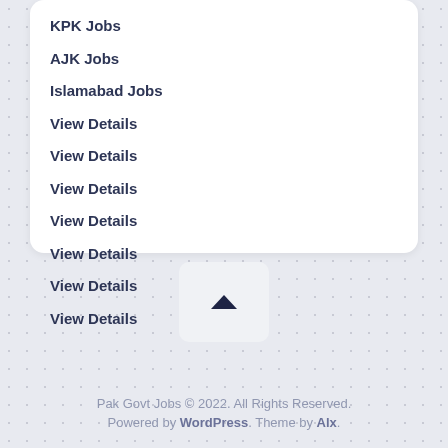KPK Jobs
AJK Jobs
Islamabad Jobs
View Details
View Details
View Details
View Details
View Details
View Details
View Details
[Figure (other): Back to top button with upward chevron arrow icon]
Pak Govt Jobs © 2022. All Rights Reserved. Powered by WordPress. Theme by Alx.